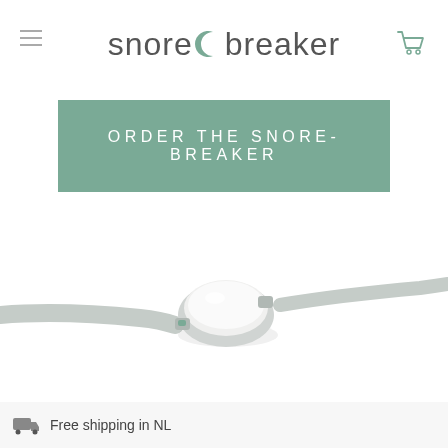snore breaker
ORDER THE SNORE-BREAKER
[Figure (photo): A Snore-Breaker wearable device with a round white pod and two gray straps extending to either side, photographed on a white background from a low angle.]
Free shipping in NL